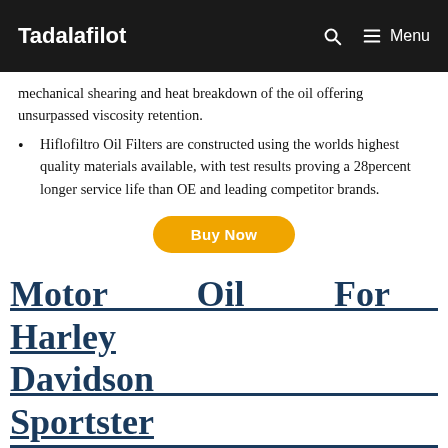Tadalafilot  Menu
mechanical shearing and heat breakdown of the oil offering unsurpassed viscosity retention.
Hiflofiltro Oil Filters are constructed using the worlds highest quality materials available, with test results proving a 28percent longer service life than OE and leading competitor brands.
[Figure (other): Buy Now button — orange pill-shaped button with white bold text]
Motor Oil For Harley Davidson Sportster